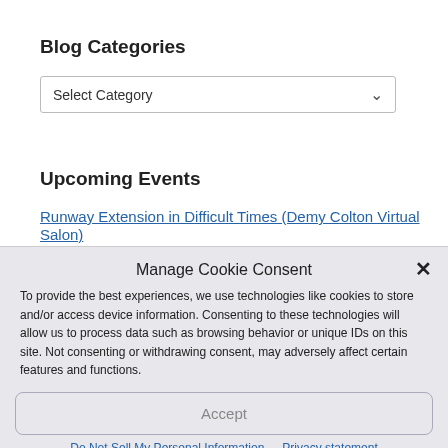Blog Categories
[Figure (screenshot): Dropdown select box with label 'Select Category' and a down chevron arrow]
Upcoming Events
Runway Extension in Difficult Times (Demy Colton Virtual Salon)
Manage Cookie Consent
To provide the best experiences, we use technologies like cookies to store and/or access device information. Consenting to these technologies will allow us to process data such as browsing behavior or unique IDs on this site. Not consenting or withdrawing consent, may adversely affect certain features and functions.
Accept
Do Not Sell My Personal Information   Privacy statement